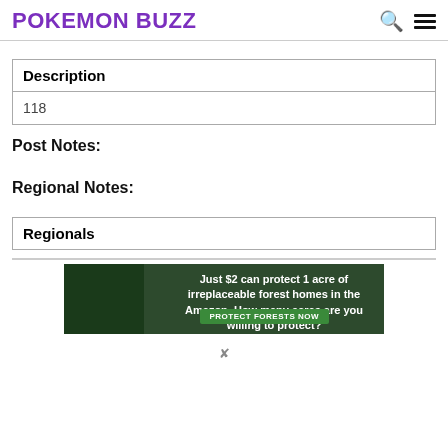POKEMON BUZZ
| Description |
| --- |
| 118 |
Post Notes:
Regional Notes:
| Regionals |
| --- |
[Figure (other): Advertisement banner: Just $2 can protect 1 acre of irreplaceable forest homes in the Amazon. How many acres are you willing to protect? PROTECT FORESTS NOW]